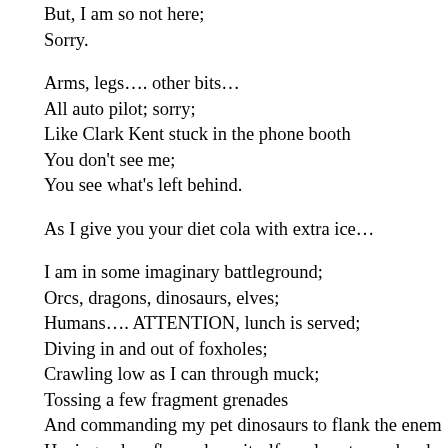But, I am so not here;
Sorry.

Arms, legs…. other bits…
All auto pilot; sorry;
Like Clark Kent stuck in the phone booth
You don't see me;
You see what's left behind.

As I give you your diet cola with extra ice…

I am in some imaginary battleground;
Orcs, dragons, dinosaurs, elves;
Humans…. ATTENTION, lunch is served;
Diving in and out of foxholes;
Crawling low as I can through muck;
Tossing a few fragment grenades
And commanding my pet dinosaurs to flank the enemy
Having a dwarf's axe bury itself so close to my head
I no longer the long haired rocker I was,
But being a skinhead seems to make me look tougher…